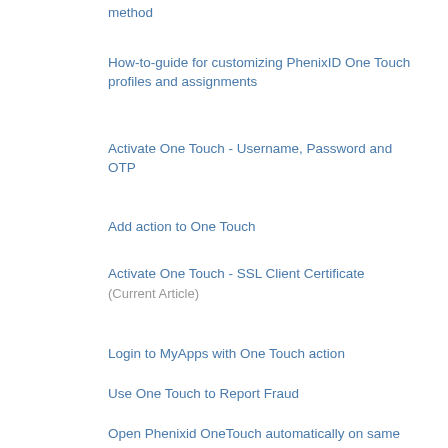method
How-to-guide for customizing PhenixID One Touch profiles and assignments
Activate One Touch - Username, Password and OTP
Add action to One Touch
Activate One Touch - SSL Client Certificate (Current Article)
Login to MyApps with One Touch action
Use One Touch to Report Fraud
Open Phenixid OneTouch automatically on same device (autostart)
Change expiration time of PhenixID OneTouch certificate
Add configuration to only allow one profile